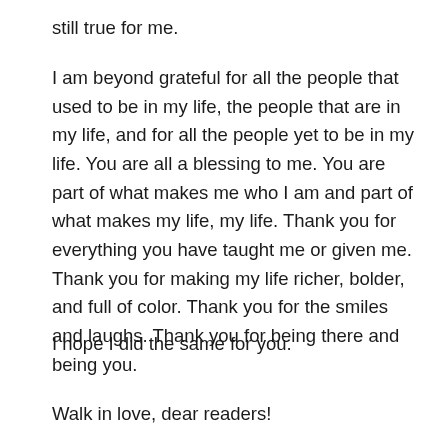still true for me.
I am beyond grateful for all the people that used to be in my life, the people that are in my life, and for all the people yet to be in my life. You are all a blessing to me. You are part of what makes me who I am and part of what makes my life, my life. Thank you for everything you have taught me or given me. Thank you for making my life richer, bolder, and full of color. Thank you for the smiles and laughs. Thank you for being there and being you.
I hope I did the same for you.
Walk in love, dear readers!